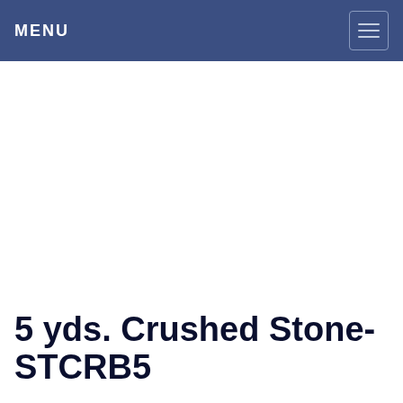MENU
5 yds. Crushed Stone-STCRB5